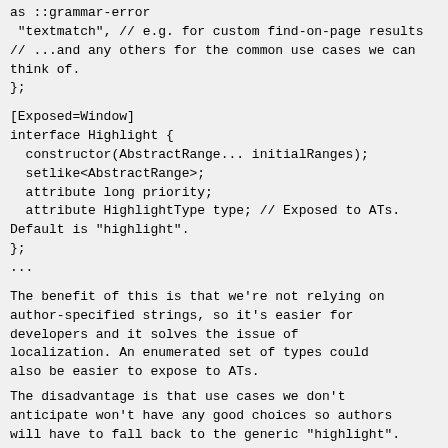as ::grammar-error
 "textmatch", // e.g. for custom find-on-page results
// ...and any others for the common use cases we can think of.
};
[Exposed=Window]
interface Highlight {
  constructor(AbstractRange... initialRanges);
  setlike<AbstractRange>;
  attribute long priority;
  attribute HighlightType type; // Exposed to ATs. Default is "highlight".
};
...
The benefit of this is that we're not relying on author-specified strings, so it's easier for developers and it solves the issue of localization. An enumerated set of types could also be easier to expose to ATs.
The disadvantage is that use cases we don't anticipate won't have any good choices so authors will have to fall back to the generic "highlight". I don't think we'd be locked into the initial set of HighlightTypes though; we could probably add more if additional common uses cases arise